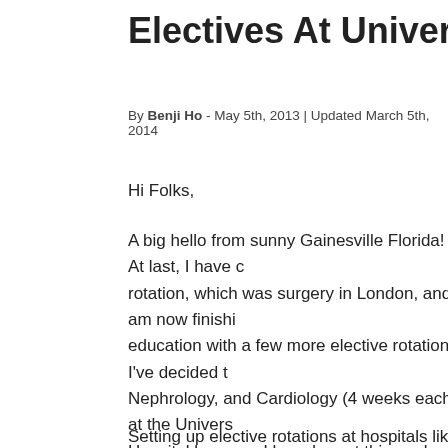Electives At University of Flo...
By Benji Ho - May 5th, 2013 | Updated March 5th, 2014
Hi Folks,
A big hello from sunny Gainesville Florida! At last, I have completed my last core rotation, which was surgery in London, and am now finishing up my medical education with a few more elective rotations. I've decided to do Internal Medicine, Nephrology, and Cardiology (4 weeks each) at the University of Florida Shands Hospital because I heard great things about the training here from other Canadian students who have been there. Gainesville was also an ideal location to do my rotations because I wanted to spend some time with family. My cousin and his family live here in town. He is a well-known wedding p... Gainesville, and was also the one who took our engagem... news, my wife Irene recently found a job as a PA in her ho... than 2 hours away north of here. She is working at a pulm... next three months, but at least we'll be relatively close to e...
Setting up elective rotations at hospitals like UF Shands is...